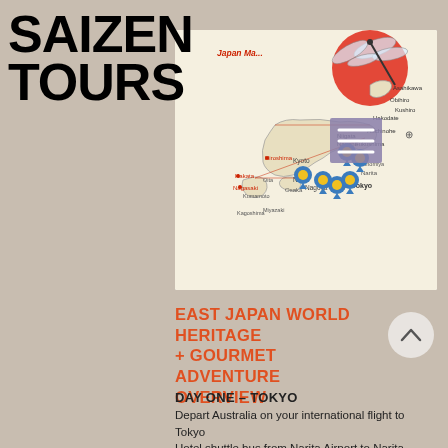[Figure (logo): Saizen Tours logo with bold black text 'SAIZEN TOURS' in large font]
[Figure (map): Japan map with location pins marking Tokyo, Nikko, Mt. Fuji, Nara, Kyoto, Hiroshima, Nagasaki, Narita, and other cities. Red dragonfly and red sun circle in upper right. Menu icon overlay.]
EAST JAPAN WORLD HERITAGE + GOURMET ADVENTURE OVERVIEW
DAY ONE – TOKYO
Depart Australia on your international flight to Tokyo
Hotel shuttle bus from Narita Airport to Narita airport hotel